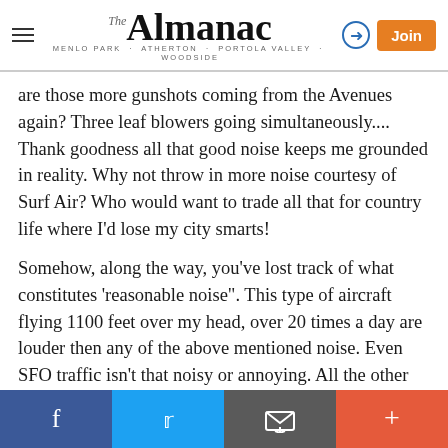The Almanac — MENLO PARK · ATHERTON · PORTOLA VALLEY · WOODSIDE
are those more gunshots coming from the Avenues again? Three leaf blowers going simultaneously.... Thank goodness all that good noise keeps me grounded in reality. Why not throw in more noise courtesy of Surf Air? Who would want to trade all that for country life where I'd lose my city smarts!
Somehow, along the way, you've lost track of what constitutes 'reasonable noise". This type of aircraft flying 1100 feet over my head, over 20 times a day are louder then any of the above mentioned noise. Even SFO traffic isn't that noisy or annoying. All the other noise footprints have never caused issues, but Surf does. Go figure.
Social share bar: Facebook, Twitter, Email, Plus